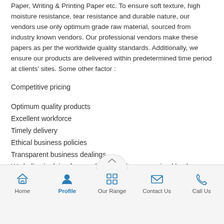Paper, Writing & Printing Paper etc. To ensure soft texture, high moisture resistance, tear resistance and durable nature, our vendors use only optimum grade raw material, sourced from industry known vendors. Our professional vendors make these papers as per the worldwide quality standards. Additionally, we ensure our products are delivered within predetermined time period at clients' sites. Some other factor :
Competitive pricing
Optimum quality products
Excellent workforce
Timely delivery
Ethical business policies
Transparent business dealings
We belive in doing fare work and is often recognised by the goverment.
Home  Profile  Our Range  Contact Us  Call Us